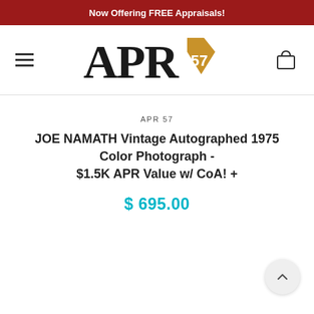Now Offering FREE Appraisals!
[Figure (logo): APR 57 logo with diamond shape and serif letters]
APR 57
JOE NAMATH Vintage Autographed 1975 Color Photograph - $1.5K APR Value w/ CoA! +
$ 695.00